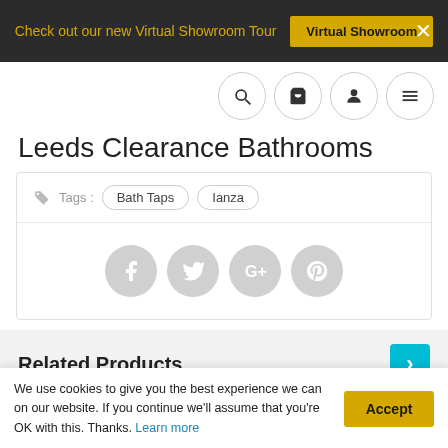Check out our new Virtual Showroom Tour — Virtual Showroom ×
Leeds Clearance Bathrooms
Tags : Bath Taps  Ianza
[Figure (screenshot): Social media sharing icons: Facebook, Twitter, Google+, Pinterest]
Related Products
We use cookies to give you the best experience we can on our website. If you continue we'll assume that you're OK with this. Thanks. Learn more